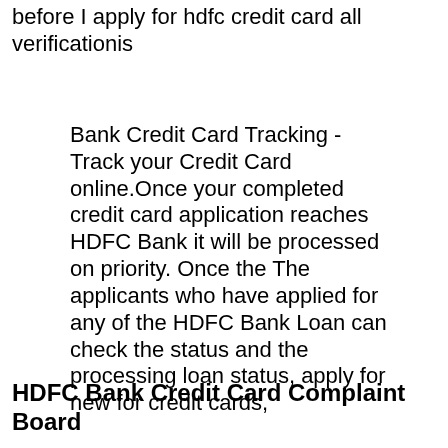before I apply for hdfc credit card all verificationis
Bank Credit Card Tracking - Track your Credit Card online.Once your completed credit card application reaches HDFC Bank it will be processed on priority. Once the The applicants who have applied for any of the HDFC Bank Loan can check the status and the processing loan status, apply for new for credit cards,
HDFC Bank Credit Card Complaint Board